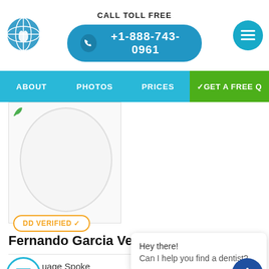CALL TOLL FREE +1-888-743-0961
Master degree in... Orthodonti...
ABOUT   PHOTOS   PRICES   ✓GET A FREE Q
[Figure (photo): Profile photo placeholder circle with DD VERIFIED badge]
Fernando Garcia Velez
uage Spoke
Education
Years of practicing
Hey there!
Can I help you find a dentist?